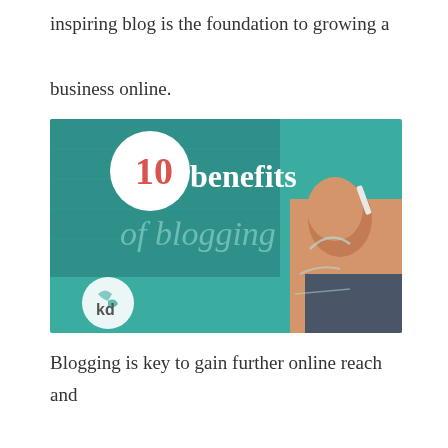inspiring blog is the foundation to growing a business online.
[Figure (illustration): Graphic showing '10 benefits of blogging' text overlay on a teal/green chalkboard background with a hand writing on it. Features a white circle with '10' in coral/red, 'benefits' in white serif text, and 'of blogging' in cursive teal. A 'kd' logo appears in the bottom left corner.]
Blogging is key to gain further online reach and show knowledge within an industry. Content becomes assets. It's an extremely important tool in SEO and online marketing.